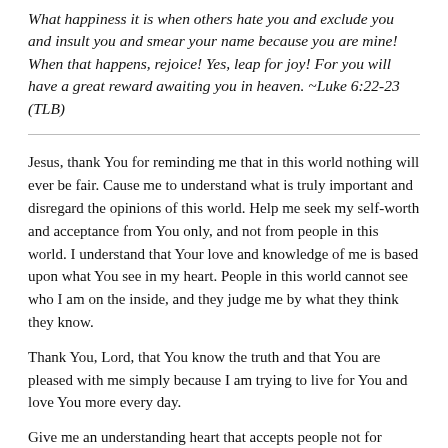What happiness it is when others hate you and exclude you and insult you and smear your name because you are mine! When that happens, rejoice! Yes, leap for joy! For you will have a great reward awaiting you in heaven. ~Luke 6:22-23 (TLB)
Jesus, thank You for reminding me that in this world nothing will ever be fair. Cause me to understand what is truly important and disregard the opinions of this world. Help me seek my self-worth and acceptance from You only, and not from people in this world. I understand that Your love and knowledge of me is based upon what You see in my heart. People in this world cannot see who I am on the inside, and they judge me by what they think they know.
Thank You, Lord, that You know the truth and that You are pleased with me simply because I am trying to live for You and love You more every day.
Give me an understanding heart that accepts people not for